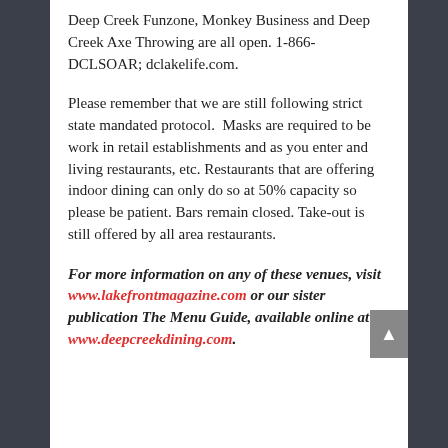Deep Creek Funzone, Monkey Business and Deep Creek Axe Throwing are all open. 1-866-DCLSOAR; dclakelife.com.
Please remember that we are still following strict state mandated protocol.  Masks are required to be work in retail establishments and as you enter and living restaurants, etc. Restaurants that are offering indoor dining can only do so at 50% capacity so please be patient. Bars remain closed. Take-out is still offered by all area restaurants.
For more information on any of these venues, visit www.lakefrontmagazine.com or our sister publication The Menu Guide, available online at www.deepcreekdining.com.